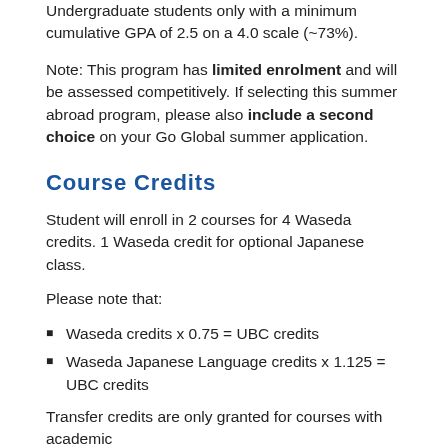Undergraduate students only with a minimum cumulative GPA of 2.5 on a 4.0 scale (~73%).
Note: This program has limited enrolment and will be assessed competitively. If selecting this summer abroad program, please also include a second choice on your Go Global summer application.
Course Credits
Student will enroll in 2 courses for 4 Waseda credits. 1 Waseda credit for optional Japanese class.
Please note that:
Waseda credits x 0.75 = UBC credits
Waseda Japanese Language credits x 1.125 = UBC credits
Transfer credits are only granted for courses with academic